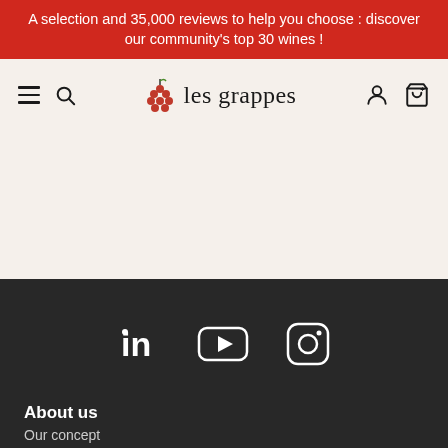A selection and 35,000 reviews to help you choose : discover our community's top 30 wines !
[Figure (logo): les grappes wine website navigation bar with hamburger menu, search icon, grape logo with site name 'les grappes', user account icon and shopping bag icon]
[Figure (infographic): Social media icons: LinkedIn, YouTube, Instagram displayed in white on dark background]
About us
Our concept